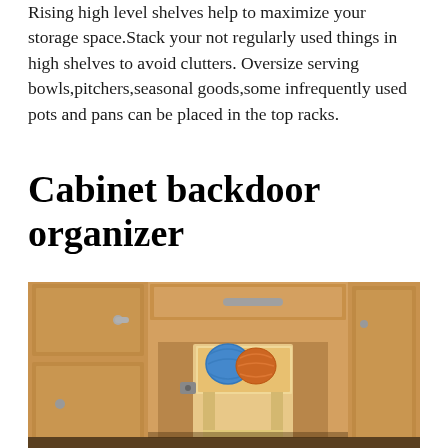Rising high level shelves help to maximize your storage space.Stack your not regularly used things in high shelves to avoid clutters. Oversize serving bowls,pitchers,seasonal goods,some infrequently used pots and pans can be placed in the top racks.
Cabinet backdoor organizer
[Figure (photo): Photo of kitchen cabinet with an open lower cabinet door revealing a wooden backdoor organizer tray holding a blue ball of yarn and an orange scrubbing pad. The kitchen has warm honey-toned wood cabinets with silver drawer pulls.]